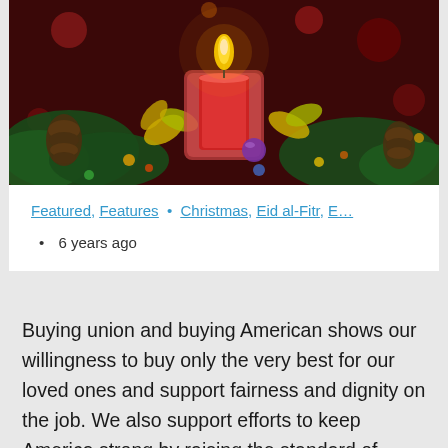[Figure (photo): Christmas holiday photo showing a lit red candle in a glass holder surrounded by green pine cones, gold and green holiday decorations, and bokeh lights on a dark red festive background.]
Featured, Features • Christmas, Eid al-Fitr, E…
6 years ago
Buying union and buying American shows our willingness to buy only the very best for our loved ones and support fairness and dignity on the job. We also support efforts to keep America strong by raising the standard of living, adding to the economy and saving jobs that may be lost to other countries. The job you save could be your